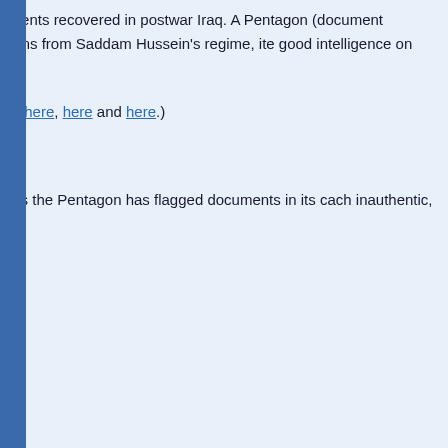Stephen Hayes of The Weekly Standard, a journalist should be, has since February been documents recovered in postwar Iraq. A Pentagon (document exploitation) is headquartered in Doha Baghdad and Washington), and is endeavoring million items from Saddam Hussein's regime, it good intelligence on what was going on in Huss
However, for reasons that don't seem to make a had trouble obtaining any of these documents fr here, here and here.)
In this article from the Dec 19 issue, Hayes des (unsuccessful) attempt to obtain some of these
One of the ones he requested, though, caught m aware that the provenance of this document has the Pentagon has flagged documents in its cach inauthentic, and this document was not flagged Hayes sought was this one:
Title: Presidential instruction from Hussein co in southern Iraq, and how to handle the PR/m Short